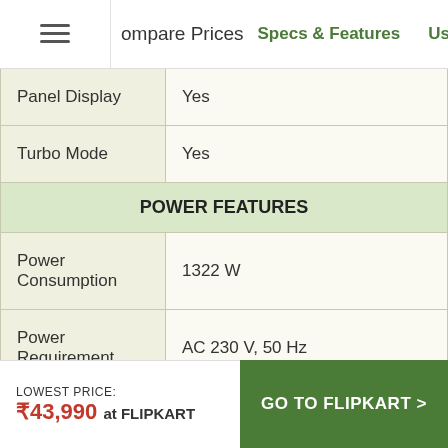Compare Prices | Specs & Features | User Reviews | Price Cha
| Feature | Value |
| --- | --- |
| Panel Display | Yes |
| Turbo Mode | Yes |
| POWER FEATURES |  |
| Power Consumption | 1322 W |
| Power Requirement | AC 230 V, 50 Hz |
| REMOTE CONTROL FEATURES |  |
| Battery Type | 2 |
| Night Glow Buttons on | Yes |
LOWEST PRICE: ₹43,990 at FLIPKART | GO TO FLIPKART >